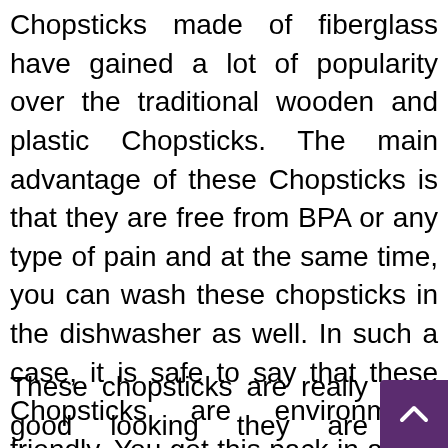Chopsticks made of fiberglass have gained a lot of popularity over the traditional wooden and plastic Chopsticks. The main advantage of these Chopsticks is that they are free from BPA or any type of pain and at the same time, you can wash these chopsticks in the dishwasher as well. In such a case, it is safe to say that these Chopsticks are environment-friendly. You get this pack in a pair of 10 chopsticks and they are 9.5 inches tall. The design incorporates anti-slip capabilities as there are design groves on the chopsticks which gives you a better grip as well.
These chopsticks are really good looking they are available in Black, Silver and Golden